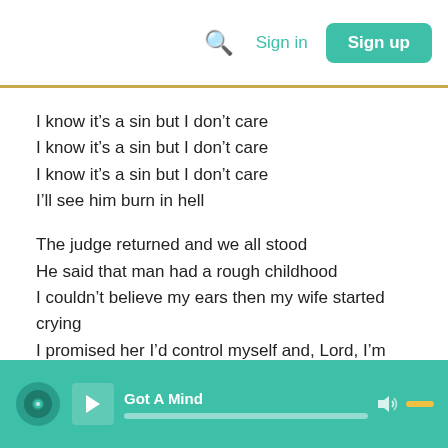Sign in  Sign up
I know it’s a sin but I don’t care
I know it’s a sin but I don’t care
I know it’s a sin but I don’t care
I’ll see him burn in hell

The judge returned and we all stood
He said that man had a rough childhood
I couldn’t believe my ears then my wife started crying
I promised her I’d control myself and, Lord, I’m trying but
Got A Mind